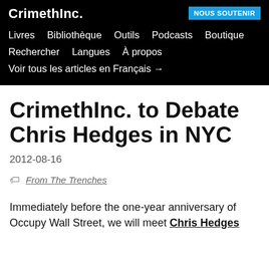CrimethInc.
NOUS SOUTENIR
Livres  Bibliothèque  Outils  Podcasts  Boutique  Rechercher  Langues  À propos
Voir tous les articles en Français →
CrimethInc. to Debate Chris Hedges in NYC
2012-08-16
From The Trenches
Immediately before the one-year anniversary of Occupy Wall Street, we will meet Chris Hedges